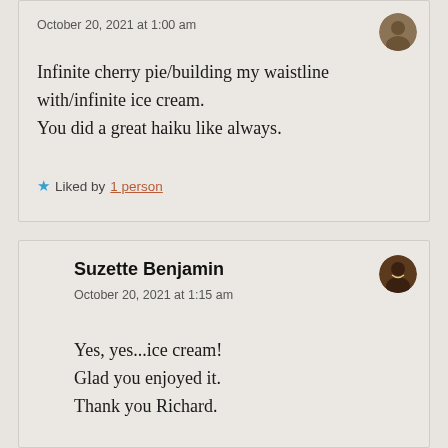October 20, 2021 at 1:00 am
Infinite cherry pie/building my waistline with/infinite ice cream.
You did a great haiku like always.
★ Liked by 1person
Suzette Benjamin
October 20, 2021 at 1:15 am
Yes, yes...ice cream!
Glad you enjoyed it.
Thank you Richard.